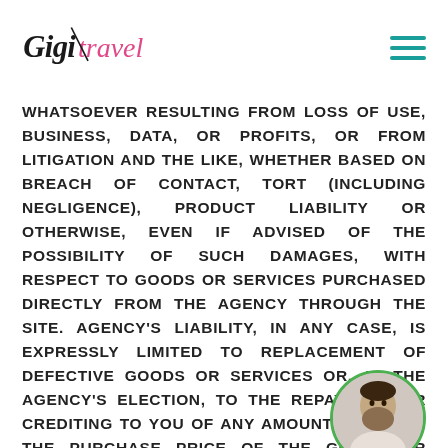Gigi Travel [logo] [hamburger menu]
WHATSOEVER RESULTING FROM LOSS OF USE, BUSINESS, DATA, OR PROFITS, OR FROM LITIGATION AND THE LIKE, WHETHER BASED ON BREACH OF CONTACT, TORT (INCLUDING NEGLIGENCE), PRODUCT LIABILITY OR OTHERWISE, EVEN IF ADVISED OF THE POSSIBILITY OF SUCH DAMAGES, WITH RESPECT TO GOODS OR SERVICES PURCHASED DIRECTLY FROM THE AGENCY THROUGH THE SITE. AGENCY'S LIABILITY, IN ANY CASE, IS EXPRESSLY LIMITED TO REPLACEMENT OF DEFECTIVE GOODS OR SERVICES OR, AT THE AGENCY'S ELECTION, TO THE REPAYMENT OR CREDITING TO YOU OF ANY AMOUNT EQUAL TO THE PURCHASE PRICE OF THE GOODS OR SERVICES. YOU ACKNOWLEDGE AND AGREE THAT THE LIMITATIONS SET FORTH ABOVE ARE FUNDAMENTAL ELEMENTS OF THESE TERMS